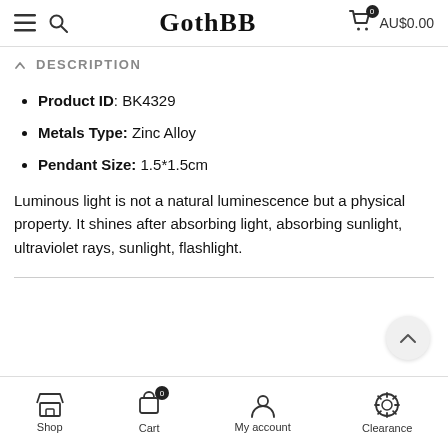GothBB — AU$0.00
DESCRIPTION
Product ID: BK4329
Metals Type: Zinc Alloy
Pendant Size: 1.5*1.5cm
Luminous light is not a natural luminescence but a physical property. It shines after absorbing light, absorbing sunlight, ultraviolet rays, sunlight, flashlight.
Shop | Cart | My account | Clearance